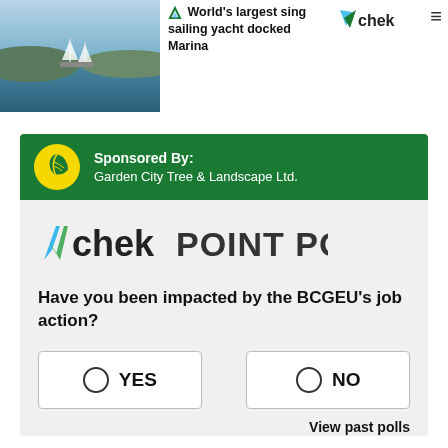[Figure (photo): Coastal marina scene with sailboats and water, blue tones]
World's largest sing sailing yacht docked Marina
[Figure (logo): CHEK TV logo — green checkmark with blue V-shape and 'chek' text]
[Figure (infographic): Sponsored By: Garden City Tree & Landscape Ltd. banner with yellow leaf logo on green background]
[Figure (logo): CHEK POINT POLL logo]
Have you been impacted by the BCGEU's job action?
YES
NO
View past polls